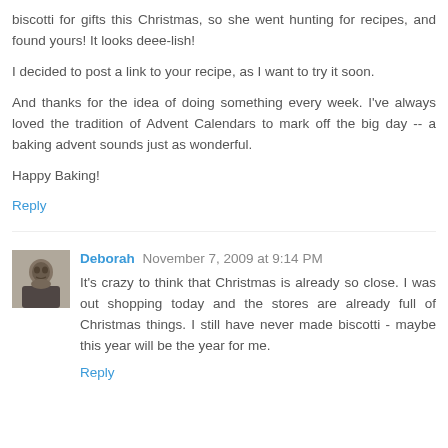biscotti for gifts this Christmas, so she went hunting for recipes, and found yours! It looks deee-lish!

I decided to post a link to your recipe, as I want to try it soon.

And thanks for the idea of doing something every week. I've always loved the tradition of Advent Calendars to mark off the big day -- a baking advent sounds just as wonderful.

Happy Baking!
Reply
Deborah November 7, 2009 at 9:14 PM
It's crazy to think that Christmas is already so close. I was out shopping today and the stores are already full of Christmas things. I still have never made biscotti - maybe this year will be the year for me.
Reply